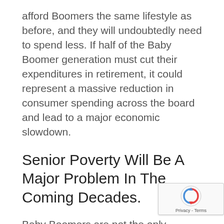afford Boomers the same lifestyle as before, and they will undoubtedly need to spend less. If half of the Baby Boomer generation must cut their expenditures in retirement, it could represent a massive reduction in consumer spending across the board and lead to a major economic slowdown.
Senior Poverty Will Be A Major Problem In The Coming Decades.
Baby Boomers are not the only generation to have struggled with retirement savings. GenX the generation that immediately follows them, are similarly ill-prepared, with 41%